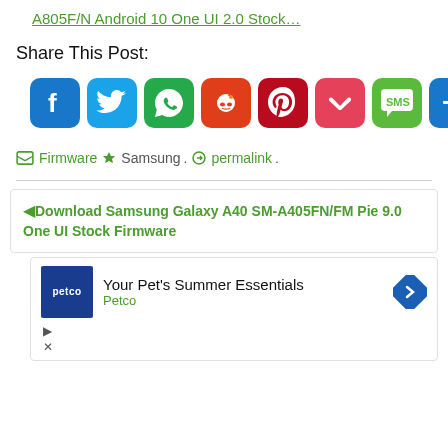A805F/N Android 10 One UI 2.0 Stock…
Share This Post:
[Figure (infographic): Row of social sharing icon buttons: Facebook, Twitter, WhatsApp, Reddit, Pinterest, Pocket, SMS, and a generic Share (+) button]
Firmware   Samsung.   permalink.
Download Samsung Galaxy A40 SM-A405FN/FM Pie 9.0 One UI Stock Firmware
[Figure (infographic): Petco advertisement: Your Pet's Summer Essentials — Petco branding with logo and navigation arrow icon]